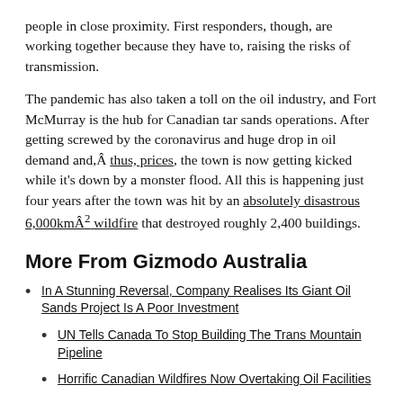people in close proximity. First responders, though, are working together because they have to, raising the risks of transmission.
The pandemic has also taken a toll on the oil industry, and Fort McMurray is the hub for Canadian tar sands operations. After getting screwed by the coronavirus and huge drop in oil demand and,Â thus, prices, the town is now getting kicked while it’s down by a monster flood. All this is happening just four years after the town was hit by an absolutely disastrous 6,000kmÂ² wildfire that destroyed roughly 2,400 buildings.
More From Gizmodo Australia
In A Stunning Reversal, Company Realises Its Giant Oil Sands Project Is A Poor Investment
UN Tells Canada To Stop Building The Trans Mountain Pipeline
Horrific Canadian Wildfires Now Overtaking Oil Facilities